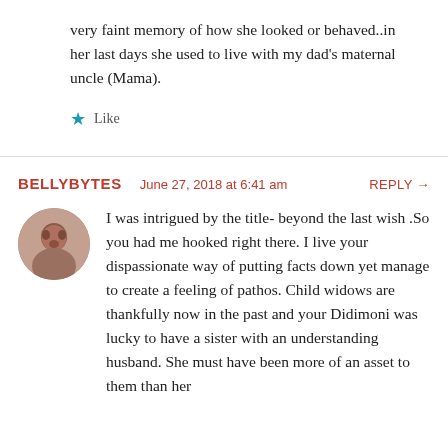very faint memory of how she looked or behaved..in her last days she used to live with my dad's maternal uncle (Mama).
Like
BELLYBYTES   June 27, 2018 at 6:41 am   REPLY →
I was intrigued by the title- beyond the last wish .So you had me hooked right there. I live your dispassionate way of putting facts down yet manage to create a feeling of pathos. Child widows are thankfully now in the past and your Didimoni was lucky to have a sister with an understanding husband. She must have been more of an asset to them than her